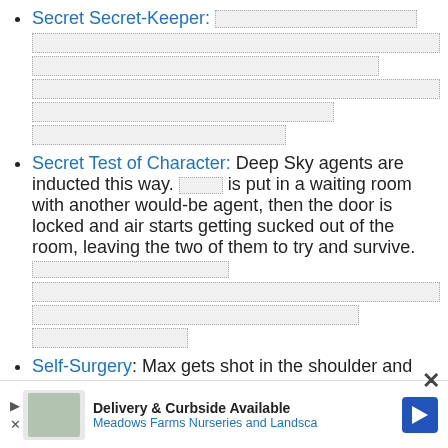Secret Secret-Keeper: [fill box] [multiple fill lines]
Secret Test of Character: Deep Sky agents are inducted this way. [fill] is put in a waiting room with another would-be agent, then the door is locked and air starts getting sucked out of the room, leaving the two of them to try and survive. [fill lines]
Self-Surgery: Max gets shot in the shoulder and can't go to the hospital, so he opts for whiskey and doing it
[Figure (other): Advertisement banner for Meadows Farms Nurseries and Landscape - Delivery & Curbside Available]